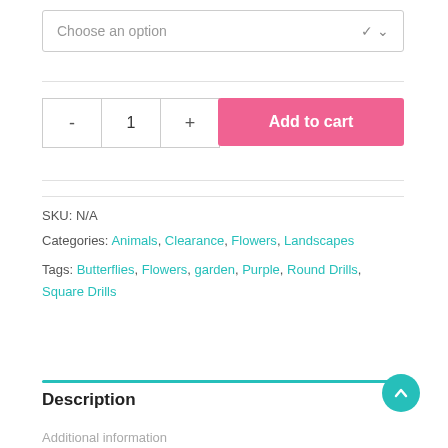Choose an option
- 1 + Add to cart
SKU: N/A
Categories: Animals, Clearance, Flowers, Landscapes
Tags: Butterflies, Flowers, garden, Purple, Round Drills, Square Drills
Description